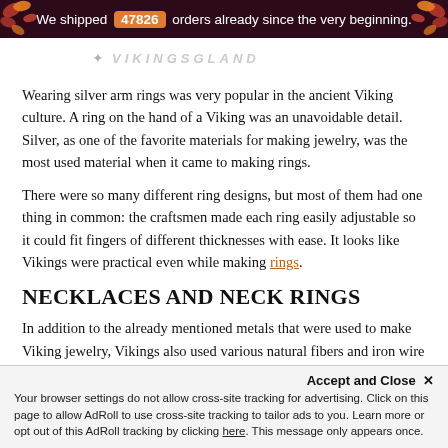We shipped 47826 orders already since the very beginning.
[Figure (logo): VikingsGlory or similar Viking brand logo with ornamental design, partially visible]
Wearing silver arm rings was very popular in the ancient Viking culture. A ring on the hand of a Viking was an unavoidable detail. Silver, as one of the favorite materials for making jewelry, was the most used material when it came to making rings.
There were so many different ring designs, but most of them had one thing in common: the craftsmen made each ring easily adjustable so it could fit fingers of different thicknesses with ease. It looks like Vikings were practical even while making rings.
NECKLACES AND NECK RINGS
In addition to the already mentioned metals that were used to make Viking jewelry, Vikings also used various natural fibers and iron wire of different lengths to make their necklaces.
Accept and Close ✕
Your browser settings do not allow cross-site tracking for advertising. Click on this page to allow AdRoll to use cross-site tracking to tailor ads to you. Learn more or opt out of this AdRoll tracking by clicking here. This message only appears once.